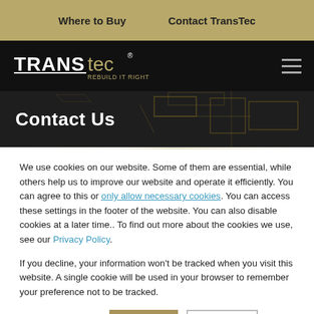Where to Buy   Contact TransTec
[Figure (logo): TransTec REBUILD IT RIGHT logo in white/gold on black background with hamburger menu icon]
Contact Us
We use cookies on our website. Some of them are essential, while others help us to improve our website and operate it efficiently. You can agree to this or only allow necessary cookies. You can access these settings in the footer of the website. You can also disable cookies at a later time.. To find out more about the cookies we use, see our Privacy Policy.
If you decline, your information won't be tracked when you visit this website. A single cookie will be used in your browser to remember your preference not to be tracked.
Cookie Declaration   Accept   Decline